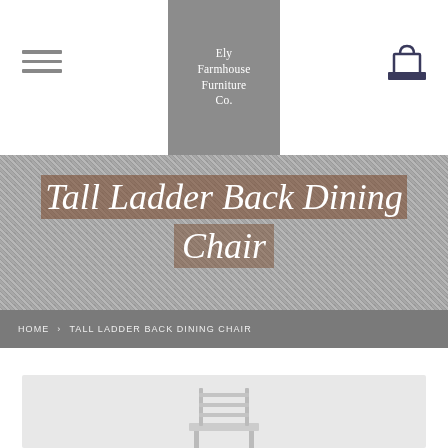Ely Farmhouse Furniture Co.
Tall Ladder Back Dining Chair
HOME › TALL LADDER BACK DINING CHAIR
[Figure (photo): Bottom portion of a product photo showing a Tall Ladder Back Dining Chair on a light grey background]